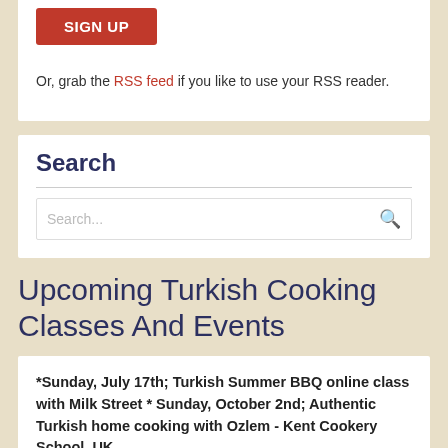[Figure (other): Red SIGN UP button]
Or, grab the RSS feed if you like to use your RSS reader.
Search
Search...
Upcoming Turkish Cooking Classes And Events
*Sunday, July 17th; Turkish Summer BBQ online class with Milk Street * Sunday, October 2nd; Authentic Turkish home cooking with Ozlem - Kent Cookery School, UK